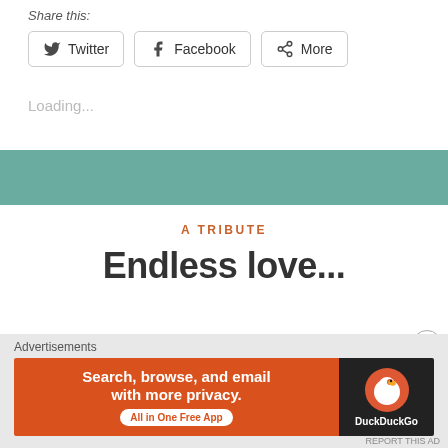Share this:
Twitter  Facebook  More
Loading...
[Figure (other): Teal/green colored horizontal band separator]
A TRIBUTE
Endless love...
Advertisements
[Figure (infographic): DuckDuckGo advertisement banner: 'Search, browse, and email with more privacy. All in One Free App' with DuckDuckGo logo on dark background]